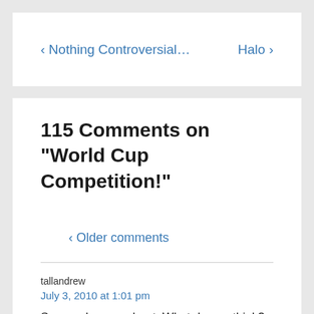‹ Nothing Controversial…
Halo ›
115 Comments on “World Cup Competition!”
‹ Older comments
tallandrew
July 3, 2010 at 1:01 pm
Suarez -hero or cheat. What do you think?